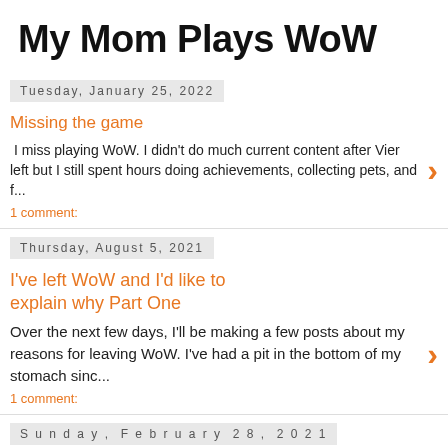My Mom Plays WoW
Tuesday, January 25, 2022
Missing the game
I miss playing WoW. I didn't do much current content after Vier left but I still spent hours doing achievements, collecting pets, and f...
1 comment:
Thursday, August 5, 2021
I've left WoW and I'd like to explain why Part One
Over the next few days, I'll be making a few posts about my reasons for leaving WoW. I've had a pit in the bottom of my stomach sinc...
1 comment:
Sunday, February 28, 2021